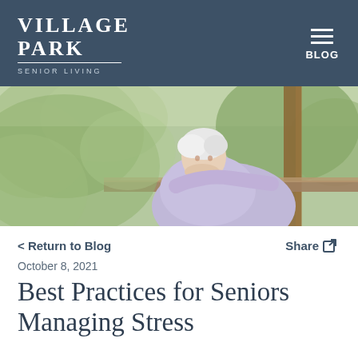Village Park Senior Living — BLOG
[Figure (photo): Elderly woman with white hair leaning on a wooden railing outdoors, looking upward contentedly, surrounded by green foliage]
< Return to Blog
Share
October 8, 2021
Best Practices for Seniors Managing Stress